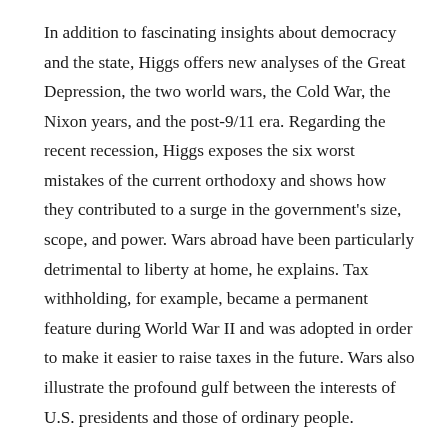In addition to fascinating insights about democracy and the state, Higgs offers new analyses of the Great Depression, the two world wars, the Cold War, the Nixon years, and the post-9/11 era. Regarding the recent recession, Higgs exposes the six worst mistakes of the current orthodoxy and shows how they contributed to a surge in the government's size, scope, and power. Wars abroad have been particularly detrimental to liberty at home, he explains. Tax withholding, for example, became a permanent feature during World War II and was adopted in order to make it easier to raise taxes in the future. Wars also illustrate the profound gulf between the interests of U.S. presidents and those of ordinary people.
But this is just the tip of the iceberg. Readers unfamiliar with Robert Higgs will discover that Delusions of Power reveals important truths about the nature of the state and its entrenched habits of crisis mongering, war making, and economic destruction. And the growing number of readers already acquainted with Higgs's works will find that his latest book offers more of the refreshing intellectual rigor, elegant